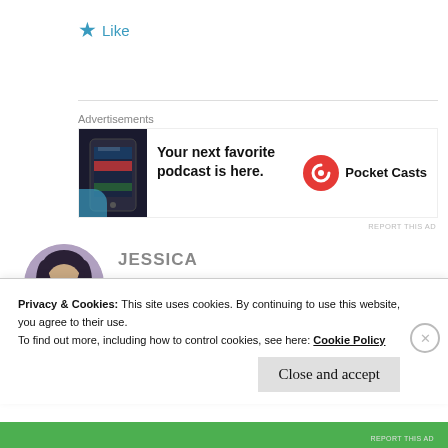★ Like
[Figure (infographic): Pocket Casts advertisement banner with phone image. Text: Your next favorite podcast is here. Logo: Pocket Casts with circular red icon.]
Advertisements
REPORT THIS AD
JESSICA
17 Apr 2019 at 5:13 pm
[Figure (photo): Circular avatar photo of Jessica, a young woman with dark hair, smiling, wearing a dark jacket.]
Privacy & Cookies: This site uses cookies. By continuing to use this website, you agree to their use.
To find out more, including how to control cookies, see here: Cookie Policy
Close and accept